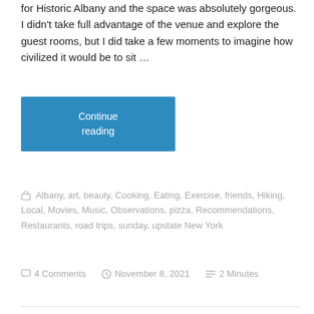for Historic Albany and the space was absolutely gorgeous. I didn't take full advantage of the venue and explore the guest rooms, but I did take a few moments to imagine how civilized it would be to sit ...
Continue reading
Albany, art, beauty, Cooking, Eating, Exercise, friends, Hiking, Local, Movies, Music, Observations, pizza, Recommendations, Restaurants, road trips, sunday, upstate New York
4 Comments  November 8, 2021  2 Minutes